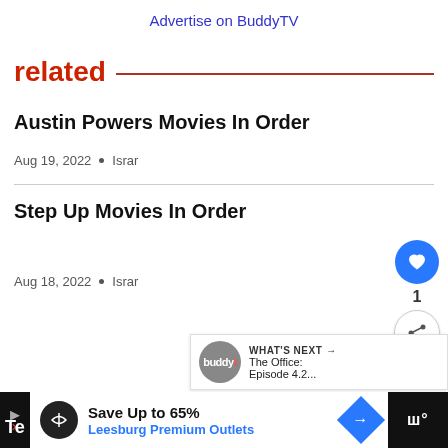Advertise on BuddyTV
related
Austin Powers Movies In Order
Aug 19, 2022 • Israr
Step Up Movies In Order
Aug 18, 2022 • Israr
WHAT'S NEXT → The Office: Episode 4.2...
Save Up to 65% Leesburg Premium Outlets